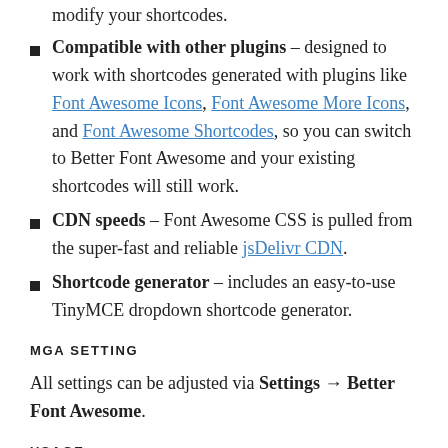Compatible with other plugins – designed to work with shortcodes generated with plugins like Font Awesome Icons, Font Awesome More Icons, and Font Awesome Shortcodes, so you can switch to Better Font Awesome and your existing shortcodes will still work.
CDN speeds – Font Awesome CSS is pulled from the super-fast and reliable jsDelivr CDN.
Shortcode generator – includes an easy-to-use TinyMCE dropdown shortcode generator.
MGA SETTING
All settings can be adjusted via Settings → Better Font Awesome.
USAGE
Better Font Awesome can be used in 3 different